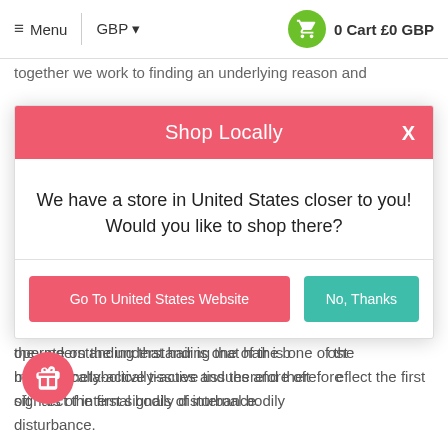≡ Menu | GBP ▾   0 Cart £0 GBP
together we work to finding an underlying reason and
Shop Locally
We have a store in United States closer to you! Would you like to shop there?
Go To United States Website
No, Thanks
forms of hair loss, hair shaft breakage, scalp disorders, and the scalp environment. Trichologists operate on the understanding that hair is one of the best metabolically-active tissues and therefore often reflect the first signals of internal bodily disturbance.